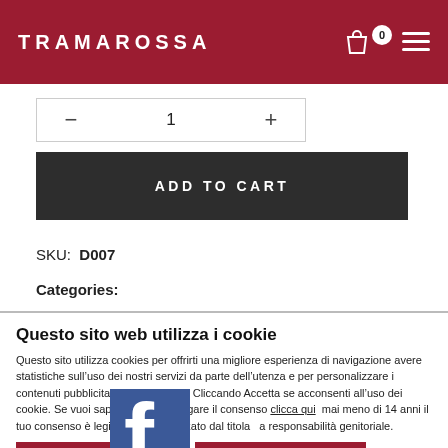TRAMAROSSA
— 1 +
ADD TO CART
SKU:  D007
Categories:
Questo sito web utilizza i cookie
Questo sito utilizza cookies per offrirti una migliore esperienza di navigazione avere statistiche sull'uso dei nostri servizi da parte dell'utenza e per personalizzare i contenuti pubblicitari che ti inviamo. Cliccando Accetta se acconsenti all'uso dei cookie. Se vuoi saperne di più o negare il consenso clicca qui mai meno di 14 anni il tuo consenso è legittimo se autorizzato dal titola a responsabilità genitoriale.
Usa so okie necessari
Accetta tutti i cookie
Dettagli